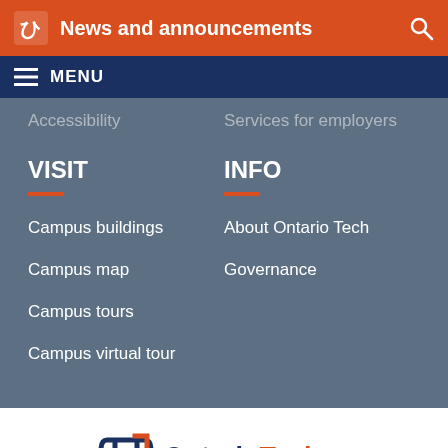News and announcements
MENU
Accessibility   Services for employers
VISIT
Campus buildings
Campus map
Campus tours
Campus virtual tour
INFO
About Ontario Tech
Governance
[Figure (logo): Ontario Tech University logo with shield icon, blue 'Ontario' and orange 'Tech' text, and 'UNIVERSITY' subtitle]